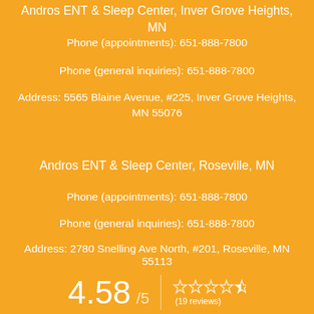Andros ENT & Sleep Center, Inver Grove Heights, MN
Phone (appointments): 651-888-7800
Phone (general inquiries): 651-888-7800
Address: 5565 Blaine Avenue, #225, Inver Grove Heights, MN 55076
Andros ENT & Sleep Center, Roseville, MN
Phone (appointments): 651-888-7800
Phone (general inquiries): 651-888-7800
Address: 2780 Snelling Ave North, #201, Roseville, MN 55113
4.58 / 5 (19 reviews)